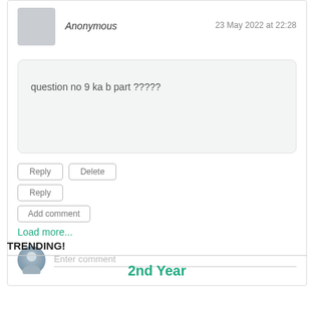Anonymous
23 May 2022 at 22:28
question no 9 ka b part ?????
Reply
Delete
Reply
Add comment
Load more...
Enter comment
TRENDING!
2nd Year